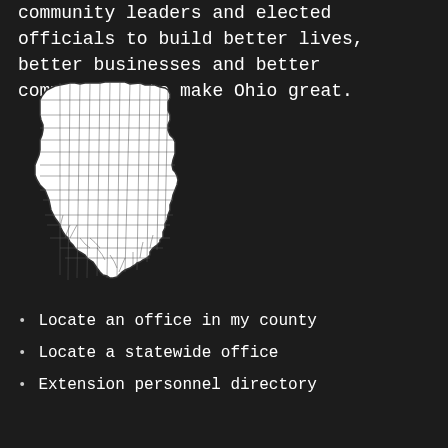community leaders and elected officials to build better lives, better businesses and better communities to make Ohio great.
[Figure (map): Outline map of Ohio divided into counties, white fill with dark borders on dark background]
Locate an office in my county
Locate a statewide office
Extension personnel directory